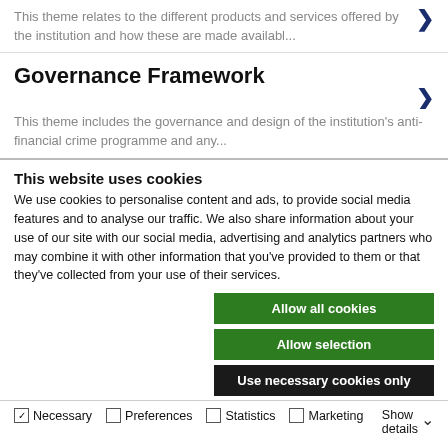This theme relates to the different products and services offered by the institution and how these are made availabl...
Governance Framework
This theme includes the governance and design of the institution's anti-financial crime programme and any...
This website uses cookies
We use cookies to personalise content and ads, to provide social media features and to analyse our traffic. We also share information about your use of our site with our social media, advertising and analytics partners who may combine it with other information that you've provided to them or that they've collected from your use of their services.
Allow all cookies
Allow selection
Use necessary cookies only
Necessary  Preferences  Statistics  Marketing  Show details